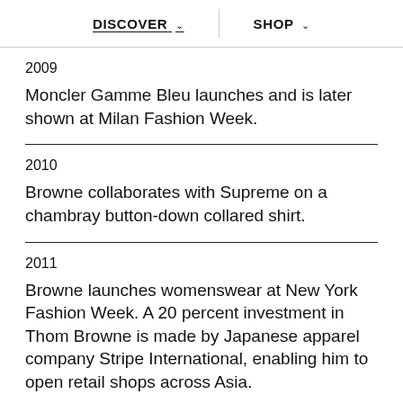DISCOVER  SHOP
2009
Moncler Gamme Bleu launches and is later shown at Milan Fashion Week.
2010
Browne collaborates with Supreme on a chambray button-down collared shirt.
2011
Browne launches womenswear at New York Fashion Week. A 20 percent investment in Thom Browne is made by Japanese apparel company Stripe International, enabling him to open retail shops across Asia.